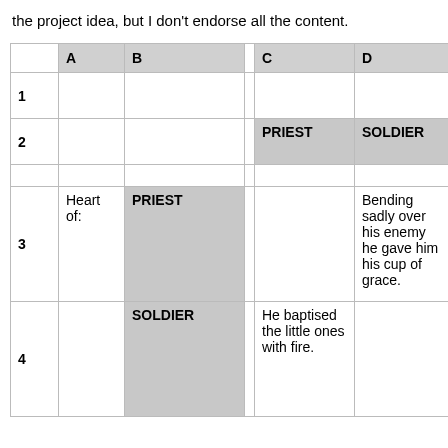the project idea, but I don't endorse all the content.
|  | A | B |  | C | D |
| --- | --- | --- | --- | --- | --- |
| 1 |  |  |  |  |  |
| 2 |  |  |  | PRIEST | SOLDIER |
|  |  |  |  |  |  |
| 3 | Heart of: | PRIEST |  |  | Bending sadly over his enemy he gave him his cup of grace. |
| 4 |  | SOLDIER |  | He baptised the little ones with fire. |  |